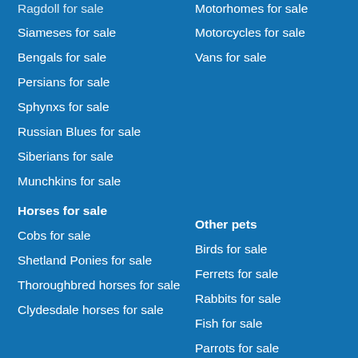Ragdoll for sale (partial, top clipped)
Siameses for sale
Bengals for sale
Persians for sale
Sphynxs for sale
Russian Blues for sale
Siberians for sale
Munchkins for sale
Horses for sale
Cobs for sale
Shetland Ponies for sale
Thoroughbred horses for sale
Clydesdale horses for sale
Motorhomes for sale
Motorcycles for sale
Vans for sale
Other pets
Birds for sale
Ferrets for sale
Rabbits for sale
Fish for sale
Parrots for sale (partial, bottom clipped)